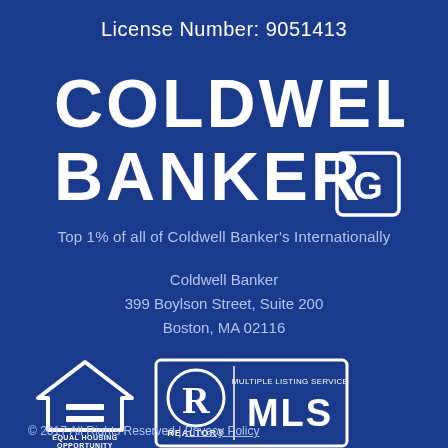License Number: 9051413
[Figure (logo): Coldwell Banker logo with COLDWELL BANKER text and CB shield icon in white on dark blue background]
Top 1% of all of Coldwell Banker's Internationally
Coldwell Banker
399 Boylson Street, Suite 200
Boston, MA 02116
[Figure (logo): Equal Housing Opportunity logo - house with equal sign icon and EQUAL HOUSING OPPORTUNITY text]
[Figure (logo): REALTOR MLS badge logo with R symbol and MULTIPLE LISTING SERVICE MLS text]
© 2017 All Rights Reserved | Privacy Policy